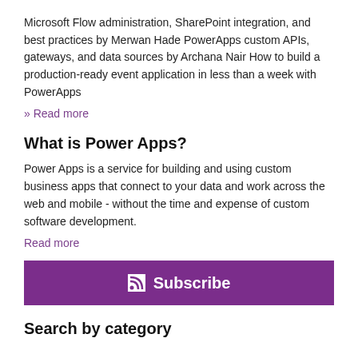Microsoft Flow administration, SharePoint integration, and best practices by Merwan Hade PowerApps custom APIs, gateways, and data sources by Archana Nair How to build a production-ready event application in less than a week with PowerApps
» Read more
What is Power Apps?
Power Apps is a service for building and using custom business apps that connect to your data and work across the web and mobile - without the time and expense of custom software development.
Read more
[Figure (other): Purple subscribe button bar with RSS icon and 'Subscribe' text in white]
Search by category